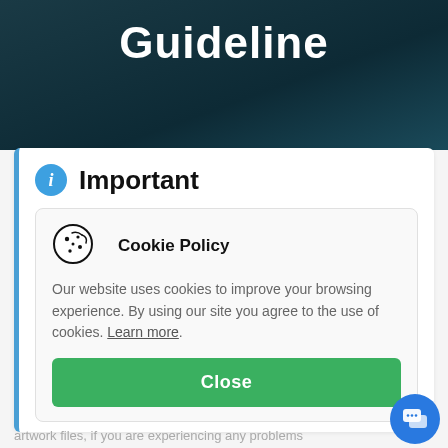Guideline
Important
Cookie Policy
Our website uses cookies to improve your browsing experience. By using our site you agree to the use of cookies. Learn more.
Close
artwork files, if you are experiencing any problems